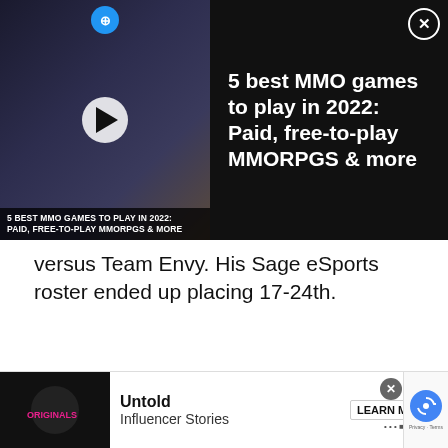[Figure (screenshot): Top banner ad for '5 best MMO games to play in 2022: Paid, free-to-play MMORPGS & more' with video thumbnail on left showing game characters, play button, coin icon, and ad title text on right with close (X) button]
versus Team Envy. His Sage eSports roster ended up placing 17-24th.
Article continues after ad
[Figure (screenshot): Ad graphic with 'Originals' branding — dark circular logo with colorful geometric shapes and yellow stylized 'ORIGINALS' text, light grey background with decorative circles and dots]